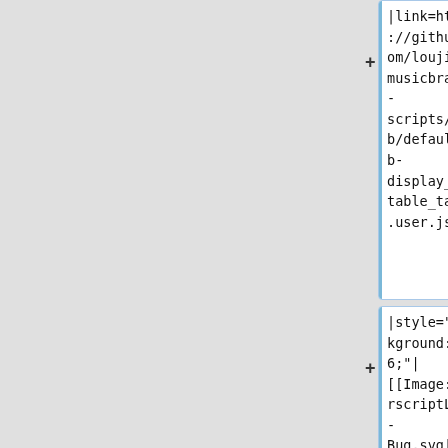|link=https://github.com/loujine/musicbrainz-scripts/blob/default/mb-display_sortable_table.user.js]]
|style="background:#f66;"|[[Image:UserscriptList-Bug.svg|20px|link=https://github.c